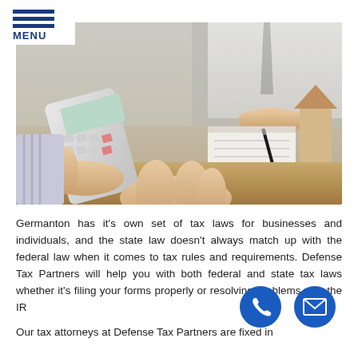[Figure (photo): Two people at a desk consultation scene: one person holding a calculator, another with hands gesturing, a notepad with a pen, and a small wooden house model on a wooden table.]
Germanton has it's own set of tax laws for businesses and individuals, and the state law doesn't always match up with the federal law when it comes to tax rules and requirements. Defense Tax Partners will help you with both federal and state tax laws whether it's filing your forms properly or resolving problems with the IRS.
Our tax attorneys at Defense Tax Partners are fixed in